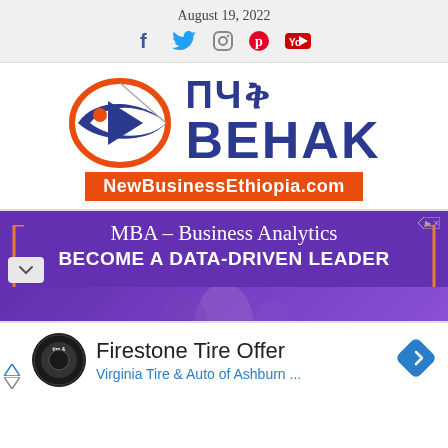August 19, 2022
[Figure (logo): Social media icons: Facebook, Twitter, Instagram, Pinterest, YouTube]
[Figure (logo): NewBusinessEthiopia.com logo with Amharic text and English BEHAK text, orange website bar]
[Figure (infographic): MBA - Business Analytics advertisement: BECOME A DATA-DRIVEN LEADER on purple background]
[Figure (infographic): Firestone Tire Offer advertisement - Virginia Tire & Auto of Ashburn...]